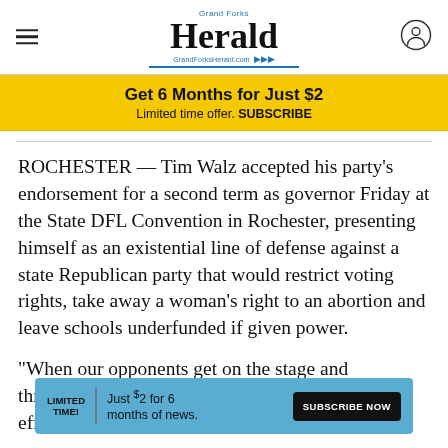Grand Forks Herald | GrandForksHerald.com
[Figure (infographic): Grand Forks Herald logo with navigation hamburger menu and user icon]
Get 6 Months for Just $2
Limited time offer. SUBSCRIBE
ROCHESTER — Tim Walz accepted his party's endorsement for a second term as governor Friday at the State DFL Convention in Rochester, presenting himself as an existential line of defense against a state Republican party that would restrict voting rights, take away a woman's right to an abortion and leave schools underfunded if given power.
“When our opponents get on the stage and threa... d effect... )
LIMITED TIME! | Just $2 for 6 months of news. SUBSCRIBE NOW